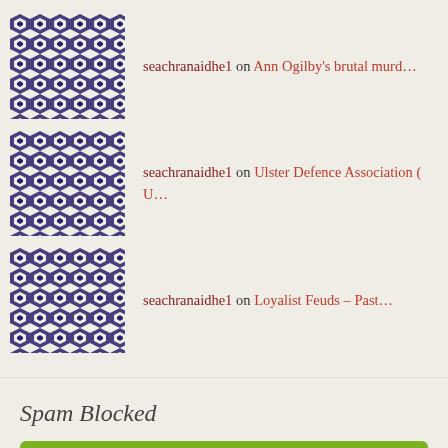seachranaidhe1 on Ann Ogilby's brutal murd…
seachranaidhe1 on Ulster Defence Association ( U…
seachranaidhe1 on Loyalist Feuds – Past…
Spam Blocked
115,698 spam blocked by Akismet
Advertisements
[Figure (screenshot): WordPress advertisement banner: 'Create immersive stories. GET THE APP' with WordPress logo]